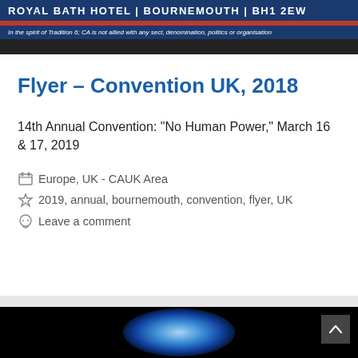[Figure (illustration): Top banner for Royal Bath Hotel, Bournemouth convention. Dark navy background with large bold text 'ROYAL BATH HOTEL | BOURNEMOUTH | BH1 2EW' and red horizontal rule. Below, italic text: 'In the spirit of Tradition 6; CA is not allied with any sect, denomination, politics or organisation']
Flyer – Convention UK, 2018
14th Annual Convention: “No Human Power,” March 16 & 17, 2019
Europe, UK - CAUK Area
2019, annual, bournemouth, convention, flyer, UK
Leave a comment
[Figure (photo): Dark background with a glowing blue/white radial light and a circular CA logo badge at the bottom center.]